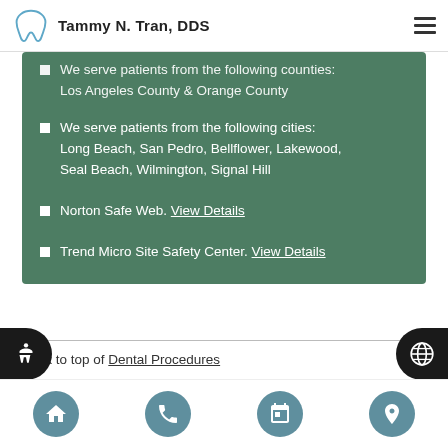Tammy N. Tran, DDS
We serve patients from the following counties: Los Angeles County & Orange County
We serve patients from the following cities: Long Beach, San Pedro, Bellflower, Lakewood, Seal Beach, Wilmington, Signal Hill
Norton Safe Web. View Details
Trend Micro Site Safety Center. View Details
Back to top of Dental Procedures